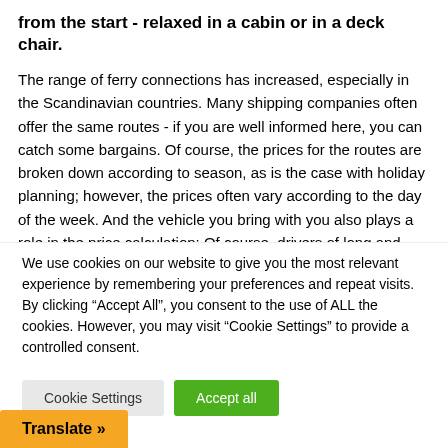from the start - relaxed in a cabin or in a deck chair.
The range of ferry connections has increased, especially in the Scandinavian countries. Many shipping companies often offer the same routes - if you are well informed here, you can catch some bargains. Of course, the prices for the routes are broken down according to season, as is the case with holiday planning; however, the prices often vary according to the day of the week. And the vehicle you bring with you also plays a role in the price calculation: Of course, drivers of long and large cars have to pay more than drivers of small cars. At the
We use cookies on our website to give you the most relevant experience by remembering your preferences and repeat visits. By clicking “Accept All”, you consent to the use of ALL the cookies. However, you may visit "Cookie Settings" to provide a controlled consent.
Cookie Settings
Accept all
Translate »